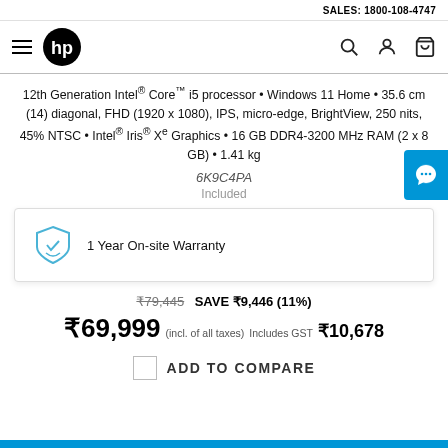SALES: 1800-108-4747
[Figure (logo): HP logo and navigation bar with hamburger menu, HP logo, search, account, and cart icons]
12th Generation Intel® Core™ i5 processor • Windows 11 Home • 35.6 cm (14) diagonal, FHD (1920 x 1080), IPS, micro-edge, BrightView, 250 nits, 45% NTSC • Intel® Iris® Xe Graphics • 16 GB DDR4-3200 MHz RAM (2 x 8 GB) • 1.41 kg
6K9C4PA
Included
1 Year On-site Warranty
₹79,445  SAVE ₹9,446 (11%)
₹69,999  (incl. of all taxes)  Includes GST ₹10,678
ADD TO COMPARE